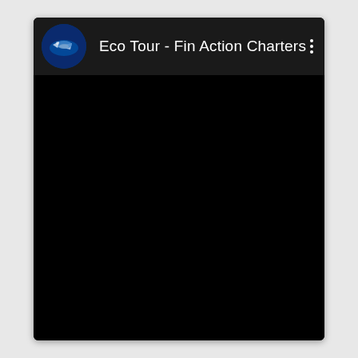[Figure (screenshot): Mobile app screenshot showing a black video player with a header bar. The header bar contains a circular profile avatar with a boat/dolphin image on a blue background, the channel name 'Eco Tour - Fin Action Charters' in white text, and a three-dot vertical menu icon on the right. The video content area below is entirely black.]